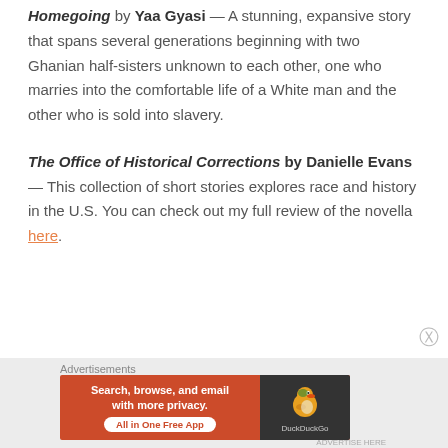Homegoing by Yaa Gyasi — A stunning, expansive story that spans several generations beginning with two Ghanian half-sisters unknown to each other, one who marries into the comfortable life of a White man and the other who is sold into slavery.
The Office of Historical Corrections by Danielle Evans — This collection of short stories explores race and history in the U.S. You can check out my full review of the novella here.
Advertisements
[Figure (other): DuckDuckGo advertisement banner: orange background on left with text 'Search, browse, and email with more privacy. All in One Free App'; dark background on right with DuckDuckGo duck logo and brand name.]